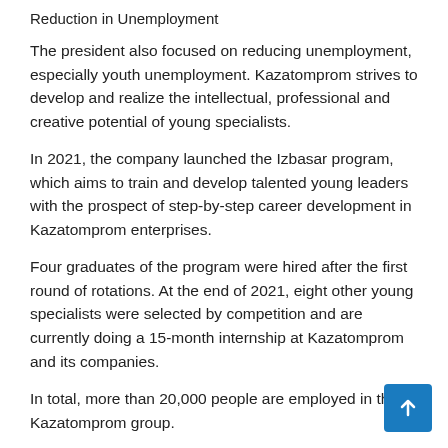Reduction in Unemployment
The president also focused on reducing unemployment, especially youth unemployment. Kazatomprom strives to develop and realize the intellectual, professional and creative potential of young specialists.
In 2021, the company launched the Izbasar program, which aims to train and develop talented young leaders with the prospect of step-by-step career development in Kazatomprom enterprises.
Four graduates of the program were hired after the first round of rotations. At the end of 2021, eight other young specialists were selected by competition and are currently doing a 15-month internship at Kazatomprom and its companies.
In total, more than 20,000 people are employed in the Kazatomprom group.
What is the company's strategy in the context of geopolitical